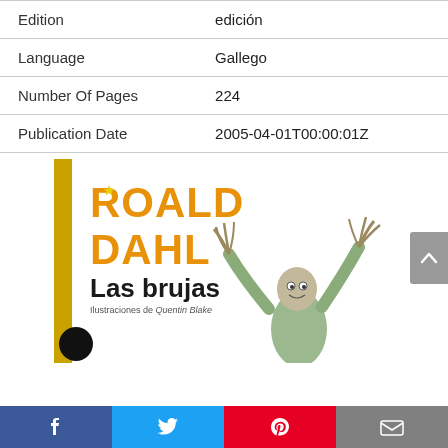| Field | Value |
| --- | --- |
| Edition | edición |
| Language | Gallego |
| Number Of Pages | 224 |
| Publication Date | 2005-04-01T00:00:01Z |
[Figure (illustration): Book cover of 'Las brujas' by Roald Dahl, illustrated by Quentin Blake. Shows the orange bold text 'ROALD DAHL' at top, 'Las brujas' in large dark text, 'Ilustraciones de Quentin Blake' subtitle, and an illustration of a witch character with clawed hands raised.]